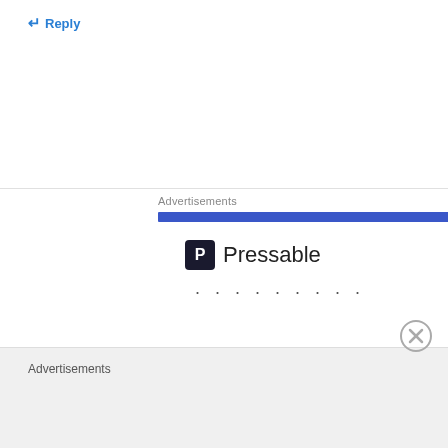↵ Reply
Advertisements
[Figure (logo): Pressable logo with dark square icon showing letter P and the word Pressable in gray/black text, followed by dots]
The Platform Where
Advertisements